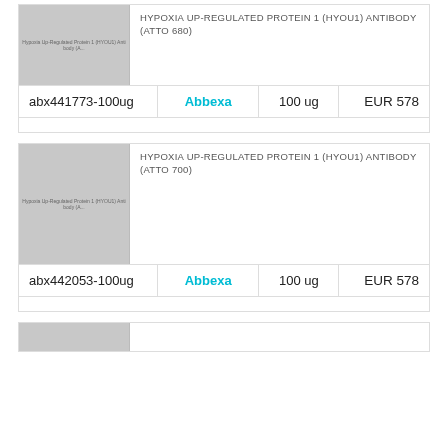[Figure (photo): Gray placeholder image for Hypoxia Up-Regulated Protein 1 (HYOU1) Antibody (ATTO 680)]
HYPOXIA UP-REGULATED PROTEIN 1 (HYOU1) ANTIBODY (ATTO 680)
| SKU | Brand | Quantity | Price |
| --- | --- | --- | --- |
| abx441773-100ug | Abbexa | 100 ug | EUR 578 |
[Figure (photo): Gray placeholder image for Hypoxia Up-Regulated Protein 1 (HYOU1) Antibody (ATTO 700)]
HYPOXIA UP-REGULATED PROTEIN 1 (HYOU1) ANTIBODY (ATTO 700)
| SKU | Brand | Quantity | Price |
| --- | --- | --- | --- |
| abx442053-100ug | Abbexa | 100 ug | EUR 578 |